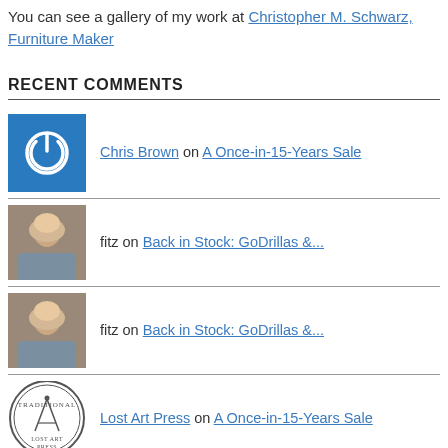You can see a gallery of my work at Christopher M. Schwarz, Furniture Maker
RECENT COMMENTS
Chris Brown on A Once-in-15-Years Sale
fitz on Back in Stock: GoDrillas &...
fitz on Back in Stock: GoDrillas &...
Lost Art Press on A Once-in-15-Years Sale
Richard COUSINEAU on Back in Stock: GoDrillas &...